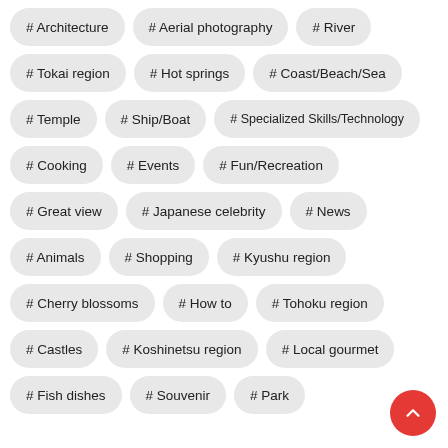# Architecture
# Aerial photography
# River
# Tokai region
# Hot springs
# Coast/Beach/Sea
# Temple
# Ship/Boat
# Specialized Skills/Technology
# Cooking
# Events
# Fun/Recreation
# Great view
# Japanese celebrity
# News
# Animals
# Shopping
# Kyushu region
# Cherry blossoms
# How to
# Tohoku region
# Castles
# Koshinetsu region
# Local gourmet
# Fish dishes
# Souvenir
# Park